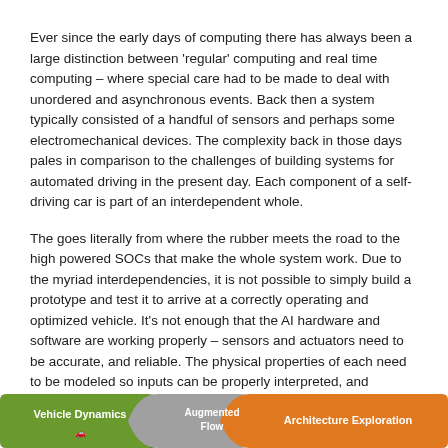Ever since the early days of computing there has always been a large distinction between 'regular' computing and real time computing – where special care had to be made to deal with unordered and asynchronous events. Back then a system typically consisted of a handful of sensors and perhaps some electromechanical devices. The complexity back in those days pales in comparison to the challenges of building systems for automated driving in the present day. Each component of a self-driving car is part of an interdependent whole.
The goes literally from where the rubber meets the road to the high powered SOCs that make the whole system work. Due to the myriad interdependencies, it is not possible to simply build a prototype and test it to arrive at a correctly operating and optimized vehicle. It's not enough that the AI hardware and software are working properly – sensors and actuators need to be accurate, and reliable. The physical properties of each need to be modeled so inputs can be properly interpreted, and controls are driven precisely. Piled on top of this complexity are the added requirements for safety. Systems in the vehicle need to be self-testing and failover has to occur seamlessly.
[Figure (infographic): Bottom strip showing three colored segments: 'Vehicle Dynamics' (green, left), 'Augmented Flow' (grey, center), 'Architecture Exploration' (orange, right)]